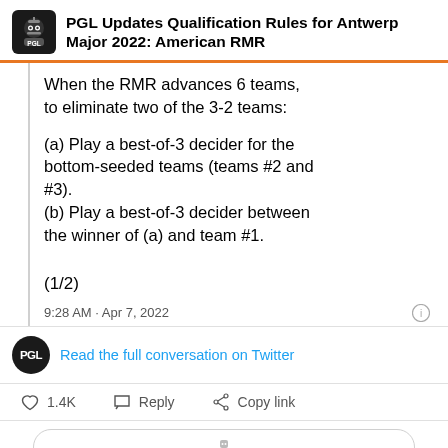PGL Updates Qualification Rules for Antwerp Major 2022: American RMR
When the RMR advances 6 teams, to eliminate two of the 3-2 teams:

(a) Play a best-of-3 decider for the bottom-seeded teams (teams #2 and #3).
(b) Play a best-of-3 decider between the winner of (a) and team #1.

(1/2)
9:28 AM · Apr 7, 2022
Read the full conversation on Twitter
1.4K   Reply   Copy link